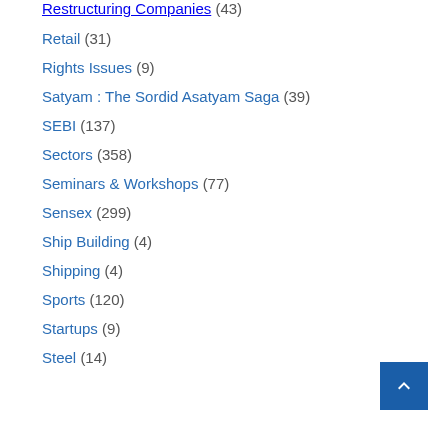Restructuring Companies (43)
Retail (31)
Rights Issues (9)
Satyam : The Sordid Asatyam Saga (39)
SEBI (137)
Sectors (358)
Seminars & Workshops (77)
Sensex (299)
Ship Building (4)
Shipping (4)
Sports (120)
Startups (9)
Steel (14)